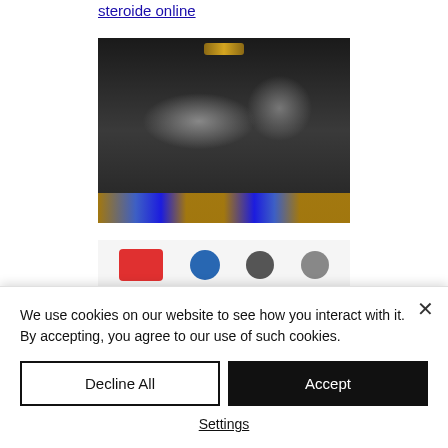steroide online
[Figure (photo): Blurred dark image showing figures in sports/athletic setting with golden and blue accents at the bottom]
[Figure (screenshot): Blurred social media sharing bar with colored icons including red, blue, dark and gray social network buttons]
We use cookies on our website to see how you interact with it. By accepting, you agree to our use of such cookies.
Decline All
Accept
Settings